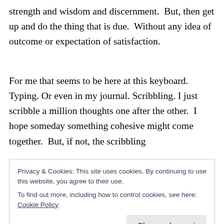strength and wisdom and discernment.  But, then get up and do the thing that is due.  Without any idea of outcome or expectation of satisfaction.
For me that seems to be here at this keyboard. Typing. Or even in my journal. Scribbling. I just scribble a million thoughts one after the other.  I hope someday something cohesive might come together.  But, if not, the scribbling
Privacy & Cookies: This site uses cookies. By continuing to use this website, you agree to their use.
To find out more, including how to control cookies, see here: Cookie Policy
am so much stronger than I thought.  I am going to keep